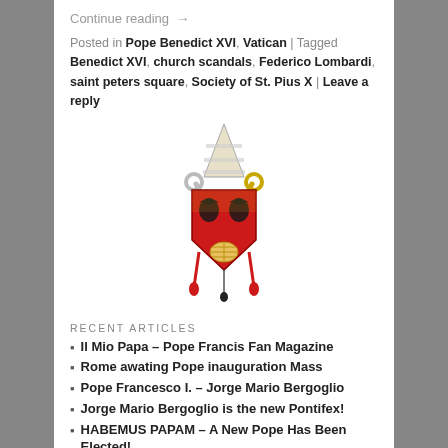Continue reading →
Posted in Pope Benedict XVI, Vatican | Tagged Benedict XVI, church scandals, Federico Lombardi, saint peters square, Society of St. Pius X | Leave a reply
[Figure (illustration): Papal coat of arms / crest with mitre, keys, red shield, eagle and shell motifs]
RECENT ARTICLES
Il Mio Papa – Pope Francis Fan Magazine
Rome awating Pope inauguration Mass
Pope Francesco I. – Jorge Mario Bergoglio
Jorge Mario Bergoglio is the new Pontifex!
HABEMUS PAPAM – A New Pope Has Been Elected!